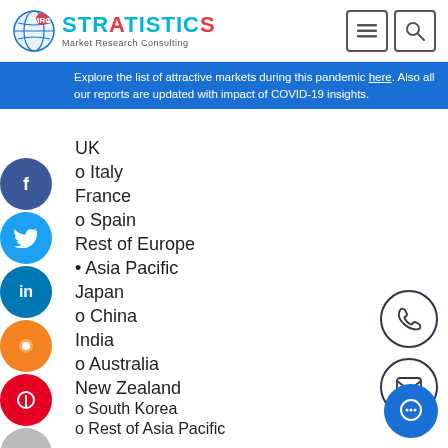Stratistics Market Research Consulting
Explore the list of attractive markets during this pandemic here. Also all our reports are updated with impact of COVID-19 insights.
UK
o Italy
France
o Spain
Rest of Europe
• Asia Pacific
Japan
o China
India
o Australia
New Zealand
o South Korea
o Rest of Asia Pacific
• South America
o Argentina